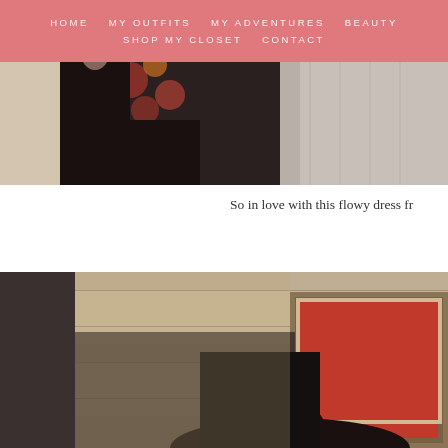HOME   MY OUTFITS   MY ADVENTURES   BEAUTY   SHOP MY CLOSET   CONTACT
[Figure (photo): Fashion photo showing a person wearing a dark floral dress, partially visible, upper portion cropped]
So in love with this flowy dress fr
[Figure (photo): Fashion photo of a person wearing a dark hat, standing indoors near a framed artwork with red background, in warm vintage tones]